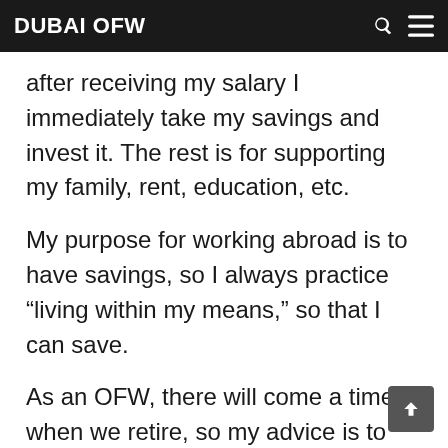DUBAI OFW
after receiving my salary I immediately take my savings and invest it. The rest is for supporting my family, rent, education, etc.
My purpose for working abroad is to have savings, so I always practice “living within my means,” so that I can save.
As an OFW, there will come a time when we retire, so my advice is to